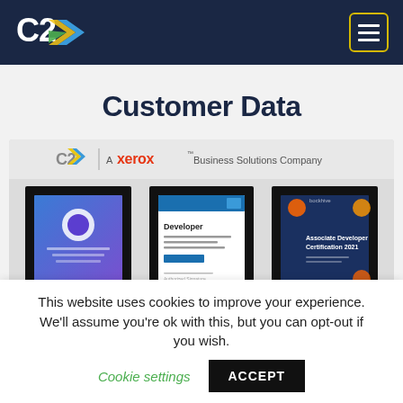C2 — A Xerox Business Solutions Company
Customer Data
[Figure (photo): Three framed certificates displayed on a light grey background. Header reads 'C2 | A Xerox Business Solutions Company'. The three frames contain: a blue/purple certificate with a circular emblem, a white certificate labeled 'Developer', and a dark blue certificate labeled 'Associate Developer Certification 2021' with orange circle accents.]
This website uses cookies to improve your experience. We'll assume you're ok with this, but you can opt-out if you wish. Cookie settings ACCEPT